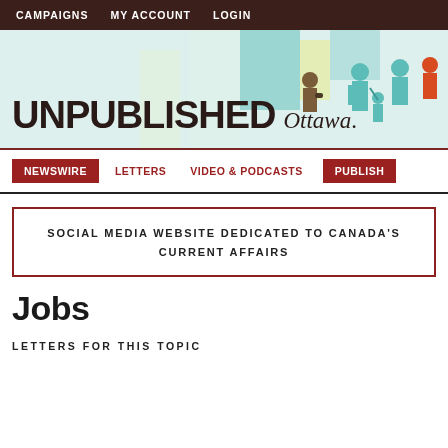CAMPAIGNS   MY ACCOUNT   LOGIN
[Figure (illustration): Unpublished Ottawa website banner with colorful illustrated figures of people on a light teal/white background. Bold text reads UNPUBLISHED Ottawa.]
NEWSWIRE   LETTERS   VIDEO & PODCASTS   PUBLISH
SOCIAL MEDIA WEBSITE DEDICATED TO CANADA'S CURRENT AFFAIRS
Jobs
LETTERS FOR THIS TOPIC